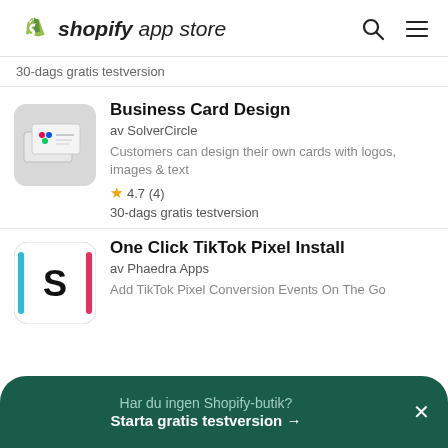shopify app store
30-dags gratis testversion
Business Card Design
av SolverCircle
Customers can design their own cards with logos, images & text
4.7 (4)
30-dags gratis testversion
One Click TikTok Pixel Install
av Phaedra Apps
Add TikTok Pixel Conversion Events On The Go
Har du ingen Shopify-butik? Starta gratis testversion →